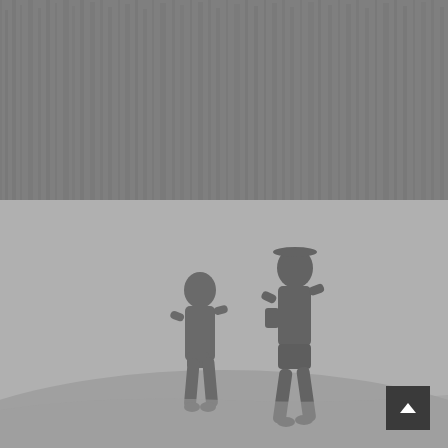[Figure (photo): Top section: grayscale/muted photo of trees or forest texture with a gray overlay, serving as a header background image]
febrero 6
MY TECH TRAVEL SETUP
[Figure (photo): Bottom section: grayscale photo of two people walking on a sand dune, carrying items, silhouetted against a light misty background]